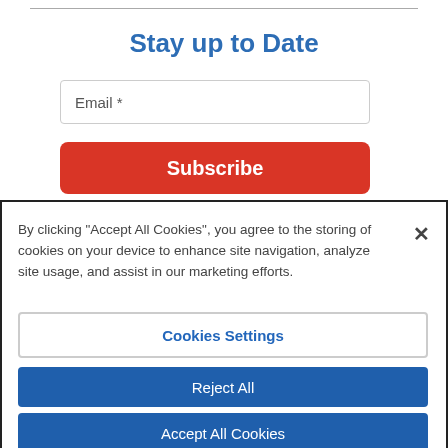Stay up to Date
Email *
Subscribe
By clicking "Accept All Cookies", you agree to the storing of cookies on your device to enhance site navigation, analyze site usage, and assist in our marketing efforts.
Cookies Settings
Reject All
Accept All Cookies